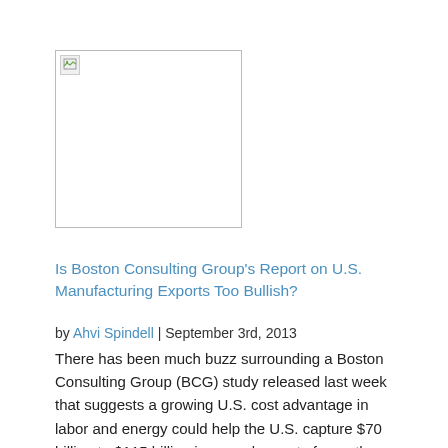[Figure (photo): Broken/missing image placeholder with border, small icon in top-left corner]
Is Boston Consulting Group's Report on U.S. Manufacturing Exports Too Bullish?
by Ahvi Spindell | September 3rd, 2013
There has been much buzz surrounding a Boston Consulting Group (BCG) study released last week that suggests a growing U.S. cost advantage in labor and energy could help the U.S. capture $70 billion to $115 billion in annual exports from other nations by 2020. Given